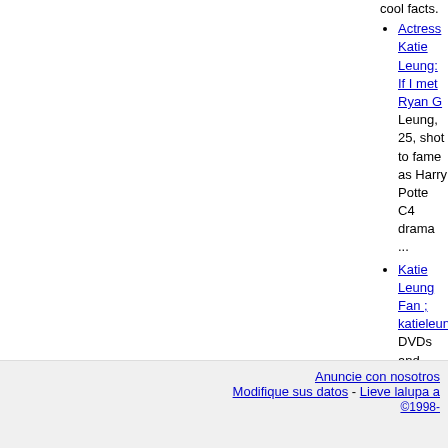cool facts.
Actress Katie Leung: If I met Ryan G... - Leung, 25, shot to fame as Harry Potte... C4 drama ...
Katie Leung Fan ; katieleungfan.com... - DVDs and ... Eight years and four films...
Katie Leung (Kt_Leung) on Twitter - T... curtisbrown.co.uk/katie-leung/ · 1,148 T...
Harry potter actress katie leung tells... - Leung (pictured) drew world-wide press... in the Harry ...
Katie Leung - Harry Potter Wiki - Pers... Lanarkshire to Peter and Kar Wai Li Le...
Katie Leung | Facebook - Katie Leung... auditions came for the role of Cho Cha...
Katie Leung - AskMen - Katie Leung p... cool facts.
Actress Katie Leung: If I met Ryan G... - Leung, 25, shot to fame as Harry Potte... C4 drama ...
Katie Leung Interview - YouTube - Fe...
Anuncie con nosotros... Modifique sus datos - Lieve lalupa a... ©1998-...